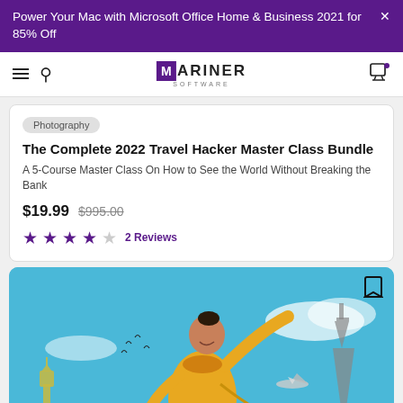Power Your Mac with Microsoft Office Home & Business 2021 for 85% Off
[Figure (logo): Mariner Software logo with navigation bar including hamburger menu, search icon, and cart icon]
Photography
The Complete 2022 Travel Hacker Master Class Bundle
A 5-Course Master Class On How to See the World Without Breaking the Bank
$19.99  $995.00
2 Reviews
[Figure (photo): Woman in yellow sweater with arms outstretched joyfully against a blue sky background, with travel landmarks including Eiffel Tower, airplane, and Statue of Liberty visible]